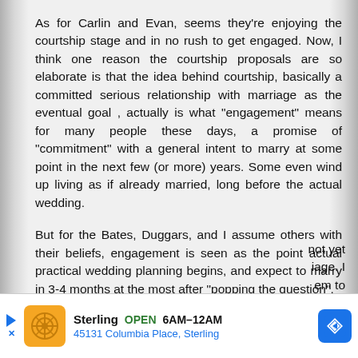As for Carlin and Evan, seems they're enjoying the courtship stage and in no rush to get engaged. Now, I think one reason the courtship proposals are so elaborate is that the idea behind courtship, basically a committed serious relationship with marriage as the eventual goal , actually is what "engagement" means for many people these days, a promise of "commitment" with a general intent to marry at some point in the next few (or more) years. Some even wind up living as if already married, long before the actual wedding.

But for the Bates, Duggars, and I assume others with their beliefs, engagement is seen as the point actual practical wedding planning begins, and expect to marry in 3-4 months at the most after "popping the question".

And I think Carlin and Evan realize they're not yet ... iage. I ... em to
[Figure (infographic): Advertisement banner for Sterling restaurant. Shows orange logo with decorative pattern, business name 'Sterling', green 'OPEN' label, hours '6AM-12AM', address '45131 Columbia Place, Sterling', and a blue navigation/directions diamond icon.]